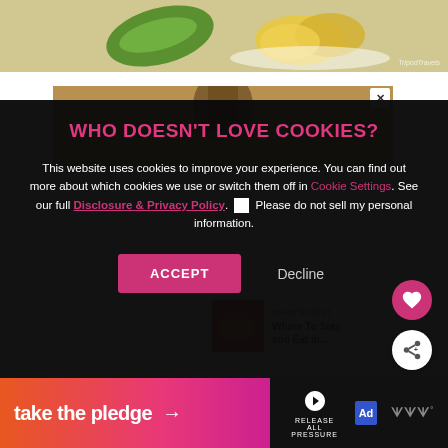[Figure (photo): Top strip showing food photo with green leaf and golden/yellow coated food item, with watermark 'TripodTravels']
[Figure (photo): Partial background photo showing a bottle with golden/brown tones, partially obscured by cookie modal]
WHO DOESN'T LOVE COOKIES?
This website uses cookies to improve your experience. You can find out more about which cookies we use or switch them off in Cookie Settings. See our full Disclosure & Privacy Policy. Please do not sell my personal information.
[Figure (screenshot): ACCEPT button (pink/magenta) and Decline text button in the cookie consent modal]
[Figure (infographic): WHAT'S NEXT panel showing a food thumbnail and text 'Where To Stay and Eat in...']
[Figure (infographic): Bottom banner: 'take the pledge' with arrow, Release logo, ad choice icon, and triple-W logo]